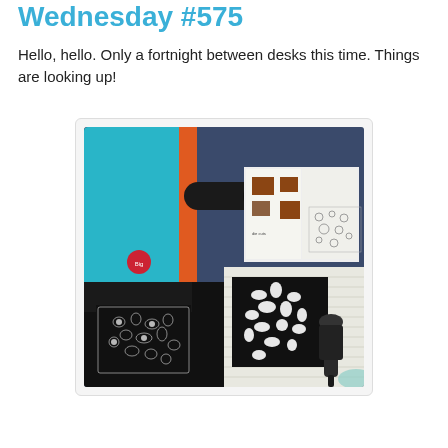Wednesday #575
Hello, hello. Only a fortnight between desks this time. Things are looking up!
[Figure (photo): Overhead view of a crafting desk showing a blue die-cutting machine (Big Shot style), black cutting pads, intricate die-cut lace pieces on black card, white floral die cuts, a roller tool, and open instruction booklets on a dark blue surface.]